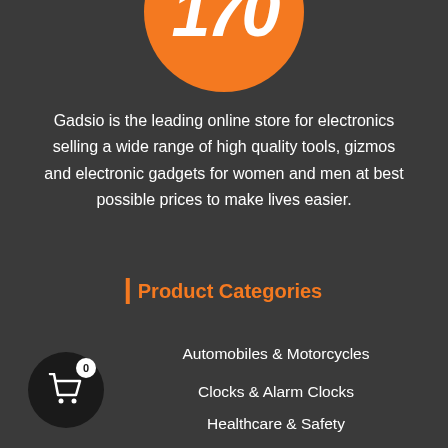[Figure (illustration): Orange circle badge with number 170 in white bold italic text, partially clipped at top of page]
Gadsio is the leading online store for electronics selling a wide range of high quality tools, gizmos and electronic gadgets for women and men at best possible prices to make lives easier.
| Product Categories
[Figure (illustration): Black circle with white shopping cart icon and badge showing 0]
Automobiles & Motorcycles
Clocks & Alarm Clocks
Healthcare & Safety